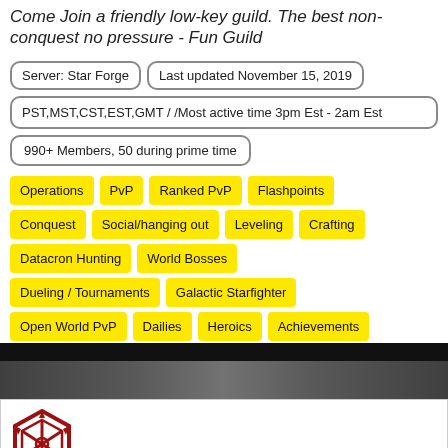Come Join a friendly low-key guild. The best non-conquest no pressure - Fun Guild
Server: Star Forge | Last updated November 15, 2019
PST,MST,CST,EST,GMT / /Most active time 3pm Est - 2am Est
990+ Members, 50 during prime time
Operations
PvP
Ranked PvP
Flashpoints
Conquest
Social/hanging out
Leveling
Crafting
Datacron Hunting
World Bosses
Dueling / Tournaments
Galactic Starfighter
Open World PvP
Dailies
Heroics
Achievements
[Figure (photo): Dark grainy photo strip showing characters in the background]
[Figure (logo): Sith Empire hexagonal logo in dark red/crimson]